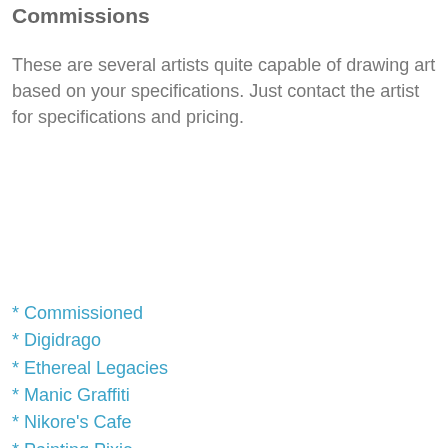Commissions
These are several artists quite capable of drawing art based on your specifications. Just contact the artist for specifications and pricing.
* Commissioned
* Digidrago
* Ethereal Legacies
* Manic Graffiti
* Nikore's Cafe
* Painting Pixie
* Shiramune